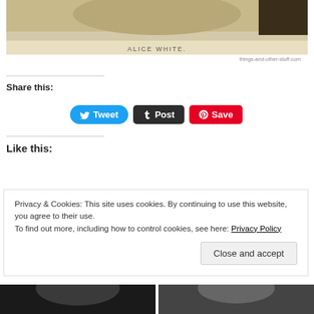[Figure (photo): Vintage sepia photograph with caption 'ALICE WHITE.' and watermark 'things-and-other-stuff.com']
Share this:
[Figure (infographic): Social media share buttons: Tweet (Twitter/blue), Post (Tumblr/black), Save (Pinterest/red)]
Like this:
Privacy & Cookies: This site uses cookies. By continuing to use this website, you agree to their use.
To find out more, including how to control cookies, see here: Privacy Policy
[Figure (photo): Two black and white portrait photos at the bottom of the page]